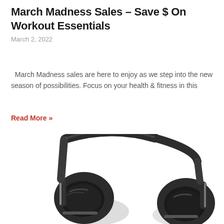March Madness Sales – Save $ On Workout Essentials
March 2, 2022
March Madness sales are here to enjoy as we step into the new season of possibilities. Focus on your health & fitness in this
Read More »
[Figure (photo): Close-up photo of black over-ear headphones showing both ear cups and headband against white background]